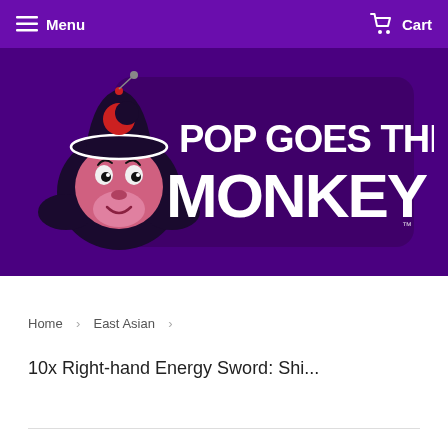Menu   Cart
[Figure (logo): Pop Goes The Monkey logo: cartoon monkey face with hat on dark purple background, large white bold text reading POP GOES THE MONKEY]
Home > East Asian >
10x Right-hand Energy Sword: Shi...